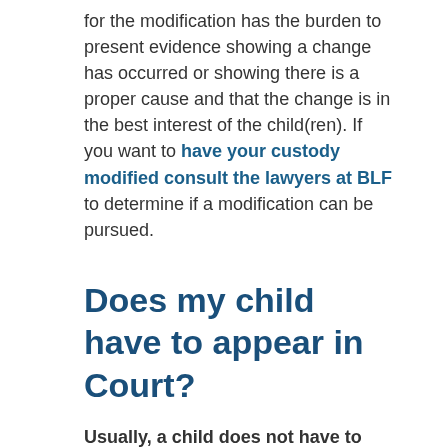for the modification has the burden to present evidence showing a change has occurred or showing there is a proper cause and that the change is in the best interest of the child(ren). If you want to have your custody modified consult the lawyers at BLF to determine if a modification can be pursued.
Does my child have to appear in Court?
Usually, a child does not have to testify in Court. However, if the child is of a certain age and wants to voice his/her feelings about their parents, then the child may appear at